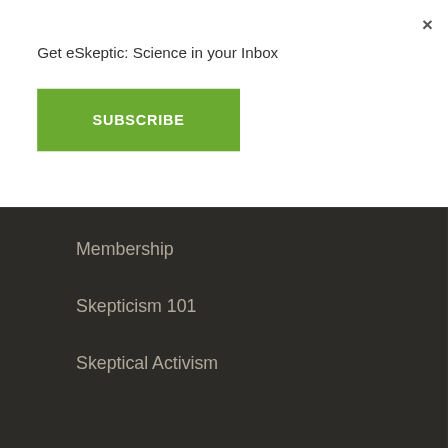×
Get eSkeptic: Science in your Inbox
SUBSCRIBE
Membership
Skepticism 101
Skeptical Activism
This website uses cookies to ensure you get the best experience on our website. Learn more.
GOT IT!